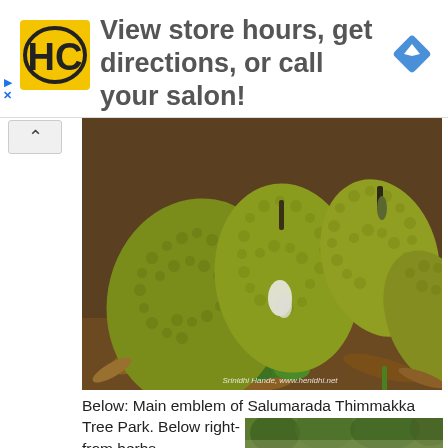[Figure (infographic): Advertisement banner for HC (Hair Club?) with yellow/black logo, text 'View store hours, get directions, or call your salon!' and a blue navigation diamond icon]
[Figure (photo): Close-up photograph of several large jackfruits lying on the ground with leaves and brown debris. Watermark reads 'Srinidhi Hande, www.henidhi.net']
Below: Main emblem of Salumarada Thimmakka Tree Park. Below right- Shushruta making medicines from herbs
[Figure (photo): Partial photo of trees/park at bottom of page]